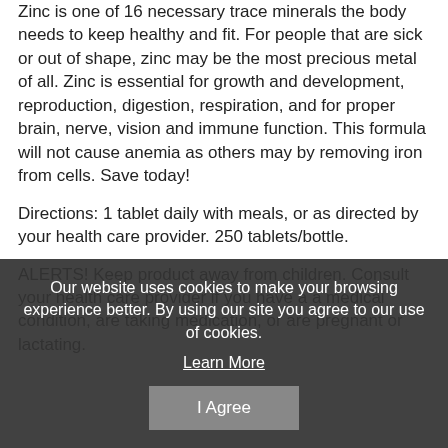Zinc is one of 16 necessary trace minerals the body needs to keep healthy and fit. For people that are sick or out of shape, zinc may be the most precious metal of all. Zinc is essential for growth and development, reproduction, digestion, respiration, and for proper brain, nerve, vision and immune function. This formula will not cause anemia as others may by removing iron from cells. Save today!
Directions: 1 tablet daily with meals, or as directed by your health care provider. 250 tablets/bottle.
ALERTS! Keep product away from children. Consult your health care provider if you have a a medical condition, are taking medication, or are pregnant or lactating.
Our website uses cookies to make your browsing experience better. By using our site you agree to our use of cookies.
Learn More
I Agree